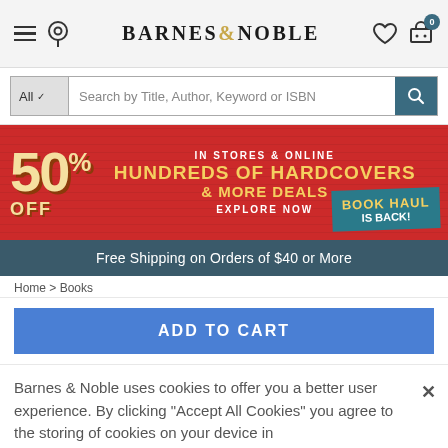BARNES & NOBLE
Search by Title, Author, Keyword or ISBN
[Figure (infographic): Barnes & Noble promotional banner: 50% OFF HUNDREDS OF HARDCOVERS & MORE DEALS IN STORES & ONLINE EXPLORE NOW. Book Haul Is Back badge.]
Free Shipping on Orders of $40 or More
ADD TO CART
Barnes & Noble uses cookies to offer you a better user experience. By clicking "Accept All Cookies" you agree to the storing of cookies on your device in